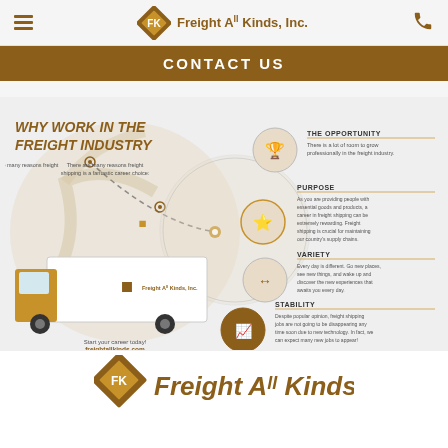Freight All Kinds, Inc.
CONTACT US
[Figure (infographic): Infographic titled 'WHY WORK IN THE FREIGHT INDUSTRY' showing a delivery truck with Freight All Kinds, Inc. branding. Text says 'There are many reasons freight shipping is a fantastic career choice.' Four reasons listed with icons: THE OPPORTUNITY - There is a lot of room to grow professionally in the freight industry. PURPOSE - As you are providing people with essential goods and products, a career in freight shipping can be extremely rewarding. Freight shipping is crucial for maintaining our country's supply chains. VARIETY - Every day is different. Go new places, see new things, and wake up and discover the new experiences that awaits you every day. STABILITY - Despite popular opinion, freight shipping jobs are not going to be disappearing any time soon due to new technology. In fact, we can expect many new jobs to appear! Bottom text: Start your career today! freightallkinds.com]
[Figure (logo): Freight All Kinds, Inc. logo with brown diamond shape and company name in bold italic]